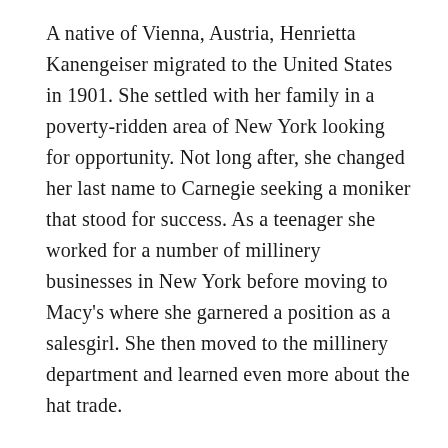A native of Vienna, Austria, Henrietta Kanengeiser migrated to the United States in 1901. She settled with her family in a poverty-ridden area of New York looking for opportunity. Not long after, she changed her last name to Carnegie seeking a moniker that stood for success. As a teenager she worked for a number of millinery businesses in New York before moving to Macy's where she garnered a position as a salesgirl. She then moved to the millinery department and learned even more about the hat trade.